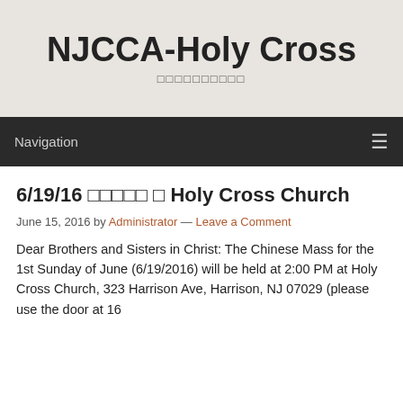NJCCA-Holy Cross
□□□□□□□□□□
Navigation
6/19/16 □□□□□ □ Holy Cross Church
June 15, 2016 by Administrator — Leave a Comment
Dear Brothers and Sisters in Christ: The Chinese Mass for the 1st Sunday of June (6/19/2016) will be held at 2:00 PM at Holy Cross Church, 323 Harrison Ave, Harrison, NJ 07029 (please use the door at 16